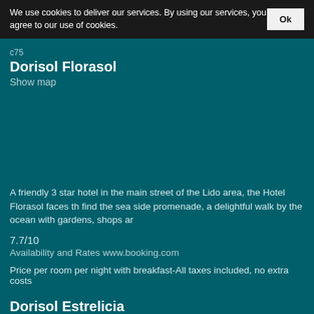We use cookies to deliver our services. By using our services, you agree to our use of cookies.
Ok
c75
Dorisol Florasol
Show map
A friendly 3 star hotel in the main street of the Lido area, the Hotel Florasol faces th find the sea side promenade, a delightful walk by the ocean with gardens, shops ar
7.7/10
Availability and Rates www.booking.com
Price per room per night with breakfast-All taxes included, no extra costs
Dorisol Estrelicia
Show map